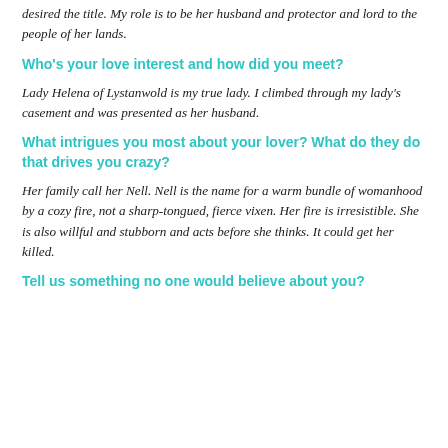desired the title. My role is to be her husband and protector and lord to the people of her lands.
Who's your love interest and how did you meet?
Lady Helena of Lystanwold is my true lady. I climbed through my lady's casement and was presented as her husband.
What intrigues you most about your lover? What do they do that drives you crazy?
Her family call her Nell. Nell is the name for a warm bundle of womanhood by a cozy fire, not a sharp-tongued, fierce vixen. Her fire is irresistible. She is also willful and stubborn and acts before she thinks. It could get her killed.
Tell us something no one would believe about you?